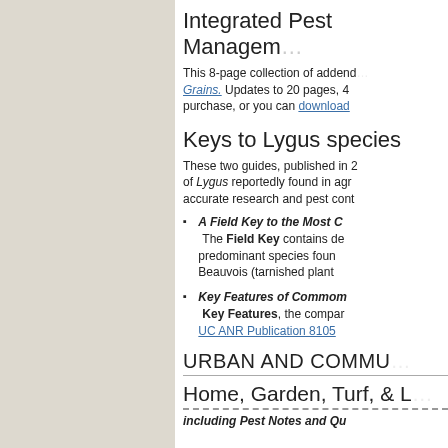[Figure (other): Left sidebar panel with beige/tan background color]
Integrated Pest Management
This 8-page collection of addendums to Grains. Updates to 20 pages, 4 purchase, or you can download
Keys to Lygus species
These two guides, published in 2 of Lygus reportedly found in agr accurate research and pest cont
A Field Key to the Most C — The Field Key contains de predominant species foun Beauvois (tarnished plant
Key Features of Commom — Key Features, the compar UC ANR Publication 8105
URBAN AND COMMU
Home, Garden, Turf, & L
including Pest Notes and Qu